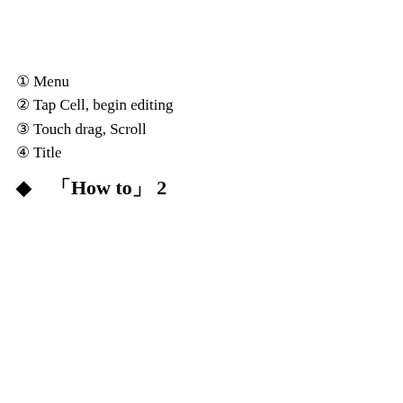① Menu
② Tap Cell, begin editing
③ Touch drag, Scroll
④ Title
◆ 「How to」 2